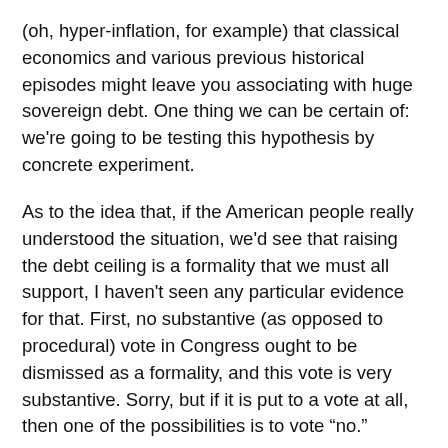(oh, hyper-inflation, for example) that classical economics and various previous historical episodes might leave you associating with huge sovereign debt. One thing we can be certain of: we're going to be testing this hypothesis by concrete experiment.
As to the idea that, if the American people really understood the situation, we'd see that raising the debt ceiling is a formality that we must all support, I haven't seen any particular evidence for that. First, no substantive (as opposed to procedural) vote in Congress ought to be dismissed as a formality, and this vote is very substantive. Sorry, but if it is put to a vote at all, then one of the possibilities is to vote “no.”
Supposed to be a formality? Maybe. But it’s not a formality. Tough luck, really.
To remind: the reason voting to raise the debt